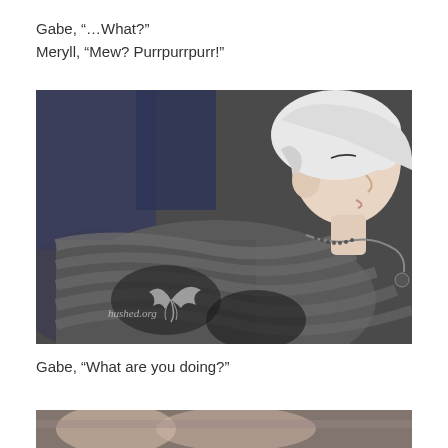Gabe, “…What?”
Meryll, “Mew? Purrpurrpurr!”
[Figure (photo): A BJD (ball-jointed doll) with white/blonde hair viewed from the side/back, wearing a dark grey striped shirt and a chain necklace. The doll is lying or reclining. A watermark reading 'hushed.org' with a wing logo is visible in the lower left of the image.]
Gabe, “What are you doing?”
[Figure (photo): Partial view of another doll scene, cropped at the bottom of the page.]